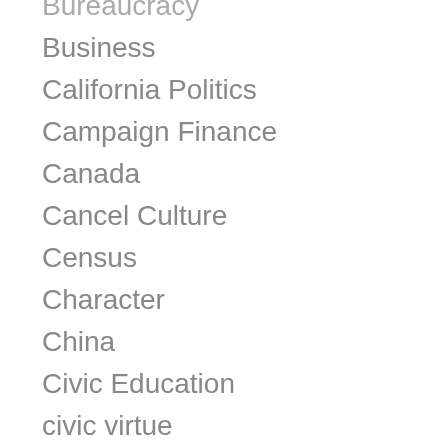Bureaucracy
Business
California Politics
Campaign Finance
Canada
Cancel Culture
Census
Character
China
Civic Education
civic virtue
Civil Rights
Civil War